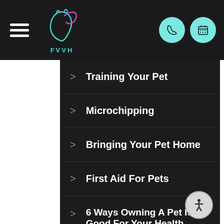FVVH navigation header with hamburger menu, logo, phone and calendar icons
Training Your Pet
Microchipping
Bringing Your Pet Home
First Aid For Pets
6 Ways Owning A Pet Is Good For Your Health